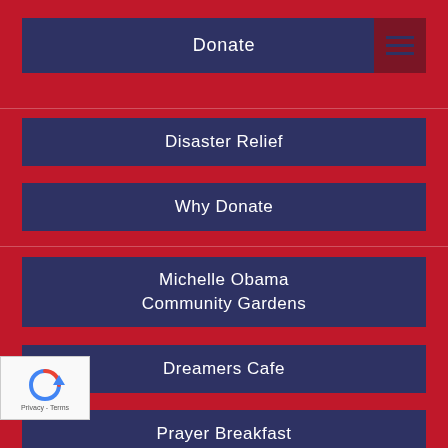Donate
Disaster Relief
Why Donate
Michelle Obama Community Gardens
Dreamers Cafe
Prayer Breakfast